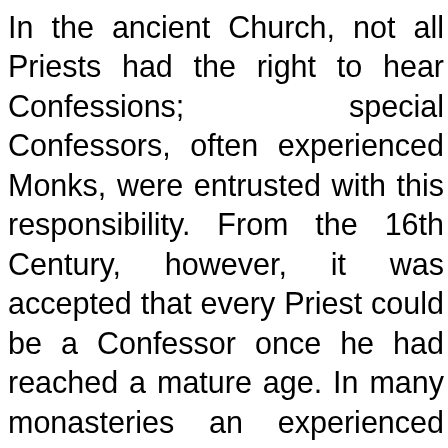In the ancient Church, not all Priests had the right to hear Confessions; special Confessors, often experienced Monks, were entrusted with this responsibility. From the 16th Century, however, it was accepted that every Priest could be a Confessor once he had reached a mature age. In many monasteries an experienced Monk who was not even a Priest was often the Confessor (such is the practice in many places on Mt. Athos), but the Penitent was always sent